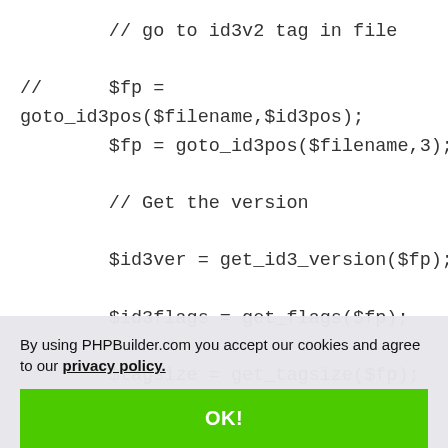// go to id3v2 tag in file

//        $fp =
goto_id3pos($filename,$id3pos);
        $fp = goto_id3pos($filename,3);

        // Get the version

        $id3ver = get_id3_version($fp);

        $id3flags = get_flags($fp);

        $tagsize = get_tagsize($fp);
        $tagsize_left = $tagsize;
        if(count($frames, 1) {
            unset($frameID);
            unset($framesize);
            unset($frame);
        for ($i = 0; $i < 4;
By using PHPBuilder.com you accept our cookies and agree to our privacy policy.
OK!